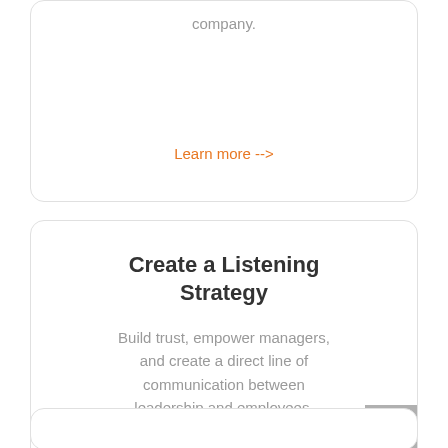company.
Learn more -->
Create a Listening Strategy
Build trust, empower managers, and create a direct line of communication between leadership and employees.
Learn more -->